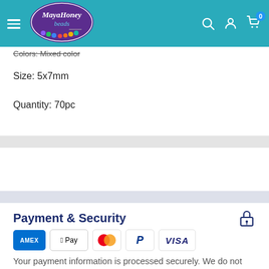MayaHoney beads - navigation header
Colors: Mixed color
Size: 5x7mm
Quantity: 70pc
Payment & Security
[Figure (logo): Payment method badges: American Express, Apple Pay, Mastercard, PayPal, Visa]
Your payment information is processed securely. We do not store credit card details nor have access to your credit card